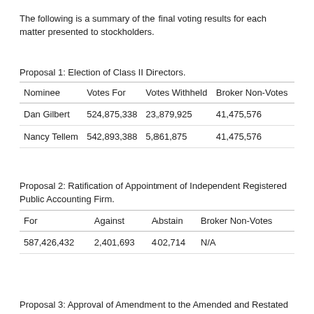The following is a summary of the final voting results for each matter presented to stockholders.
Proposal 1: Election of Class II Directors.
| Nominee | Votes For | Votes Withheld | Broker Non-Votes |
| --- | --- | --- | --- |
| Dan Gilbert | 524,875,338 | 23,879,925 | 41,475,576 |
| Nancy Tellem | 542,893,388 | 5,861,875 | 41,475,576 |
Proposal 2: Ratification of Appointment of Independent Registered Public Accounting Firm.
| For | Against | Abstain | Broker Non-Votes |
| --- | --- | --- | --- |
| 587,426,432 | 2,401,693 | 402,714 | N/A |
Proposal 3: Approval of Amendment to the Amended and Restated Rocket